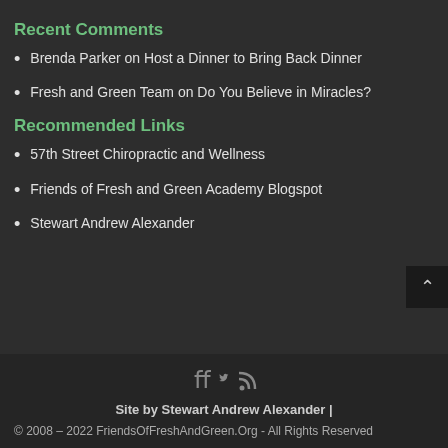Recent Comments
Brenda Parker on Host a Dinner to Bring Back Dinner
Fresh and Green Team on Do You Believe in Miracles?
Recommended Links
57th Street Chiropractic and Wellness
Friends of Fresh and Green Academy Blogspot
Stewart Andrew Alexander
[Figure (infographic): Social media icons: Facebook, Twitter, RSS feed]
Site by Stewart Andrew Alexander | © 2008 – 2022 FriendsOfFreshAndGreen.Org - All Rights Reserved